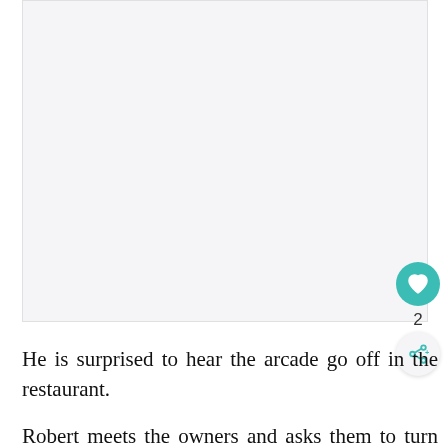[Figure (photo): Large light gray image placeholder area]
He is surprised to hear the arcade go off in the restaurant.
Robert meets the owners and asks them to turn off all